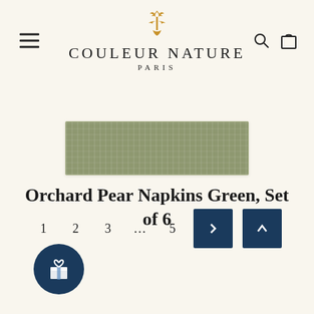Couleur Nature Paris
[Figure (photo): Green linen napkin fabric swatch, sage/olive green color]
Orchard Pear Napkins Green, Set of 6
Pagination: 1 2 3 … 5 > ^